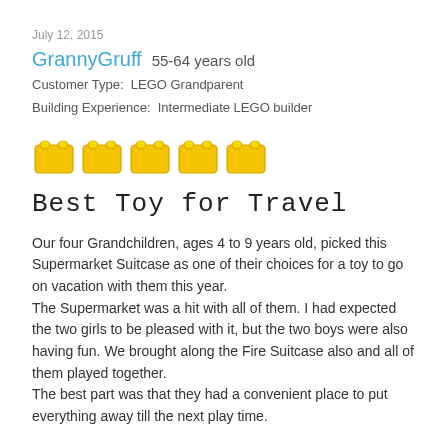July 12, 2015
GrannyGruff  55-64 years old
Customer Type:  LEGO Grandparent
Building Experience:  Intermediate LEGO builder
[Figure (illustration): Five yellow LEGO brick icons representing a 5-star rating]
Best Toy for Travel
Our four Grandchildren, ages 4 to 9 years old, picked this Supermarket Suitcase as one of their choices for a toy to go on vacation with them this year.
The Supermarket was a hit with all of them. I had expected the two girls to be pleased with it, but the two boys were also having fun. We brought along the Fire Suitcase also and all of them played together.
The best part was that they had a convenient place to put everything away till the next play time.